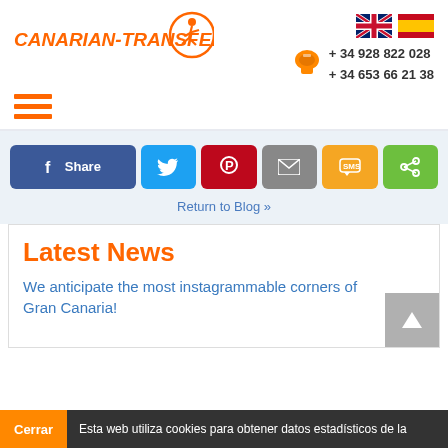[Figure (logo): Canarian-Transfer logo with orange running figure icon and orange italic text CANARIAN-TRANSFER]
[Figure (infographic): UK and Spanish flag icons for language selection]
+ 34 928 822 028
+ 34 653 66 21 38
[Figure (infographic): Hamburger menu icon with three orange lines]
[Figure (infographic): Social share buttons: Facebook Share, Twitter, Pinterest, Email, SMS, Share]
Return to Blog »
Latest News
We anticipate the most instagrammable corners of Gran Canaria!
Cerrar  Esta web utiliza cookies para obtener datos estadísticos de la